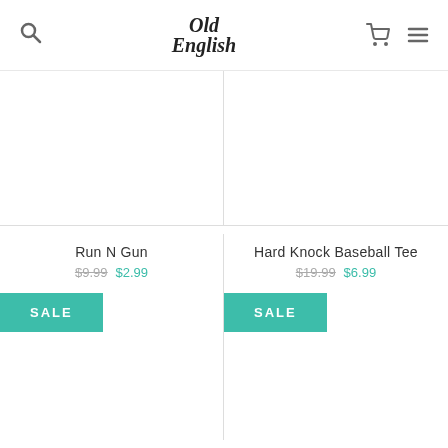Old English — Search, Cart, Menu navigation
Run N Gun — $9.99 $2.99 SALE
Hard Knock Baseball Tee — $19.99 $6.99 SALE